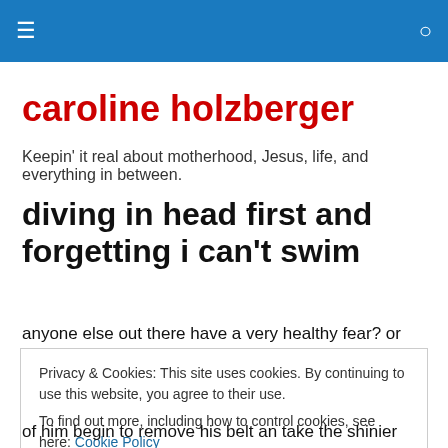≡  🔍
caroline holzberger
Keepin' it real about motherhood, Jesus, life, and everything in between.
diving in head first and forgetting i can't swim
anyone else out there have a very healthy fear? or two? or
Privacy & Cookies: This site uses cookies. By continuing to use this website, you agree to their use.
To find out more, including how to control cookies, see here: Cookie Policy
[Close and accept]
of him begin to remove his belt an take the shinier side of